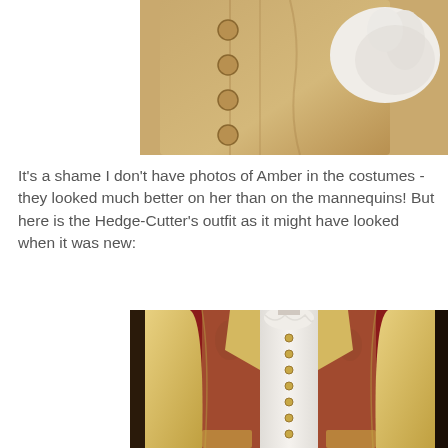[Figure (photo): Close-up photo of a tan/beige historical costume coat with large buttons, and a white-gloved hand visible, displayed on a mannequin.]
It's a shame I don't have photos of Amber in the costumes - they looked much better on her than on the mannequins! But here is the Hedge-Cutter's outfit as it might have looked when it was new:
[Figure (photo): Photo of a pale yellow historical coat/jacket with small buttons down the front, open to reveal a white ruffled shirt underneath, displayed on a headless mannequin against a red and dark wood background.]